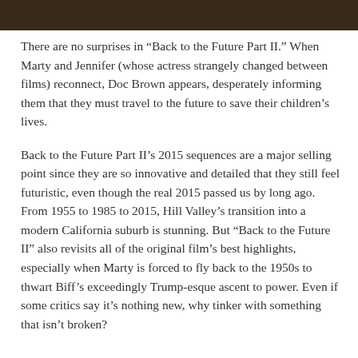[Figure (photo): Dark brown/reddish image strip at the top of the page, partial view of a photo.]
There are no surprises in “Back to the Future Part II.” When Marty and Jennifer (whose actress strangely changed between films) reconnect, Doc Brown appears, desperately informing them that they must travel to the future to save their children’s lives.
Back to the Future Part II’s 2015 sequences are a major selling point since they are so innovative and detailed that they still feel futuristic, even though the real 2015 passed us by long ago. From 1955 to 1985 to 2015, Hill Valley’s transition into a modern California suburb is stunning. But “Back to the Future II” also revisits all of the original film’s best highlights, especially when Marty is forced to fly back to the 1950s to thwart Biff’s exceedingly Trump-esque ascent to power. Even if some critics say it’s nothing new, why tinker with something that isn’t broken?